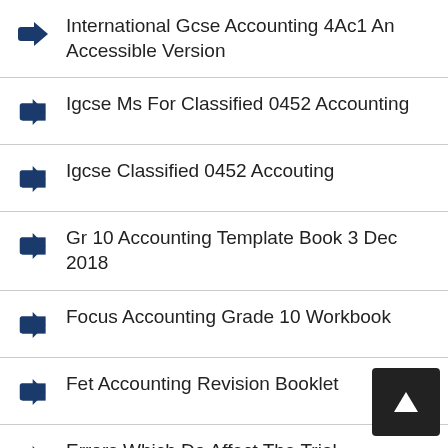International Gcse Accounting 4Ac1 An Accessible Version
Igcse Ms For Classified 0452 Accounting
Igcse Classified 0452 Accouting
Gr 10 Accounting Template Book 3 Dec 2018
Focus Accounting Grade 10 Workbook
Fet Accounting Revision Booklet
Errors Which Do Affect The Trial